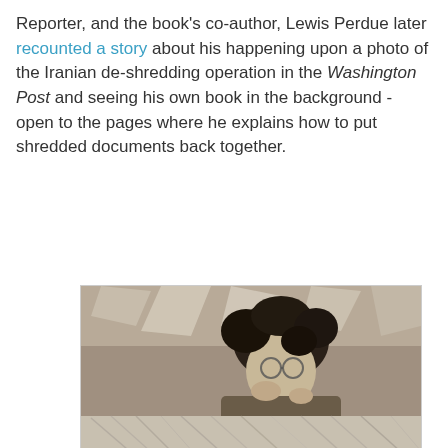Reporter, and the book's co-author, Lewis Perdue later recounted a story about his happening upon a photo of the Iranian de-shredding operation in the Washington Post and seeing his own book in the background - open to the pages where he explains how to put shredded documents back together.
[Figure (photo): Black and white photograph of Jim Mintz, one of the investigative reporters sorting out shredded material. Person with curly hair and glasses is surrounded by piles of shredded paper strips. Below the photo are two captions: 'Jim Mintz, one of the investigative reporters sorting out shredded material. Photo by Lew Perdue' and 'Shredded material painstakingly re-created, strip by strip. Photo by Lew Perdue'. Below is another partial image showing shredded document strips on a surface.]